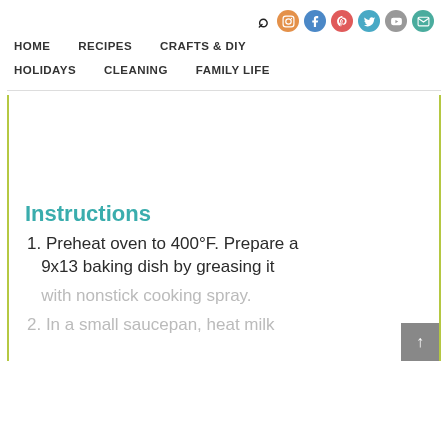HOME   RECIPES   CRAFTS & DIY   HOLIDAYS   CLEANING   FAMILY LIFE
Instructions
1. Preheat oven to 400°F. Prepare a 9x13 baking dish by greasing it with nonstick cooking spray.
2. In a small saucepan, heat milk